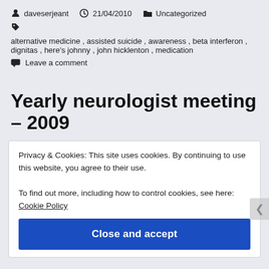daveserjeant  21/04/2010  Uncategorized
alternative medicine, assisted suicide, awareness, beta interferon, dignitas, here's johnny, john hicklenton, medication
Leave a comment
Yearly neurologist meeting – 2009
Privacy & Cookies: This site uses cookies. By continuing to use this website, you agree to their use.
To find out more, including how to control cookies, see here: Cookie Policy
Close and accept